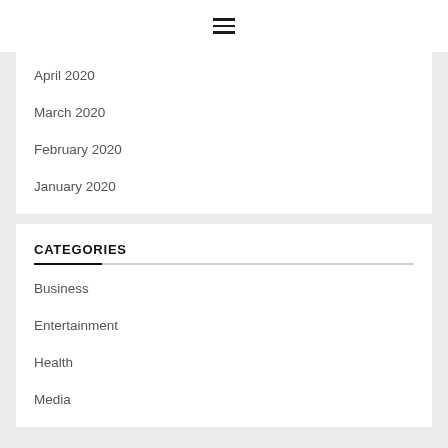☰
April 2020
March 2020
February 2020
January 2020
CATEGORIES
Business
Entertainment
Health
Media